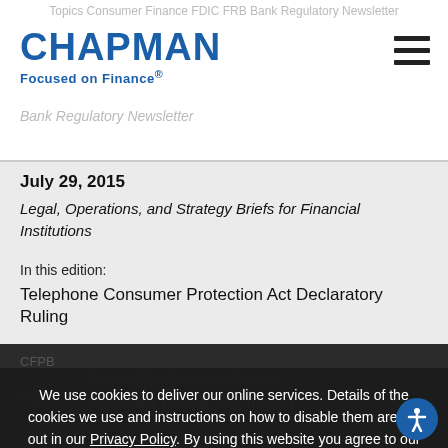Topics Consumer Finance FDIC FRB Bank Regulatory Newsletter
[Figure (logo): Chapman Focused on Finance logo with blue text]
Bank Regulatory Newsletter
July 29, 2015
Legal, Operations, and Strategy Briefs for Financial Institutions
In this edition:
Telephone Consumer Protection Act Declaratory Ruling
CFPB
Treasury Department Inquiry about Marketplace Lending
We use cookies to deliver our online services. Details of the cookies we use and instructions on how to disable them are set out in our Privacy Policy. By using this website you agree to our use of cookies.
ACCEPT AND CLOSE
Topics: FRB, Consumer Finance
Marketplace Lending, U.S. Treasury